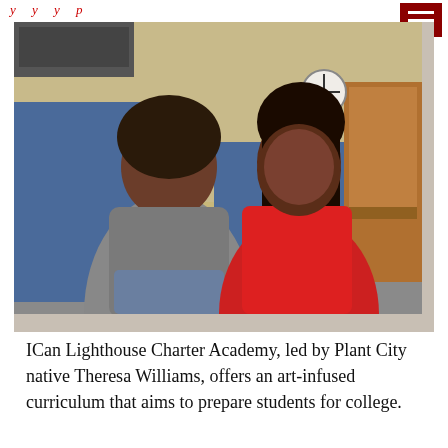y ... y ... y ... p ...
[Figure (photo): Two women seated in a room with blue chairs. The woman on the left wears a gray polo shirt and jeans. The woman on the right wears a red sleeveless dress and smiles broadly. Behind them are rows of blue chairs, a clock on the wall, and a piano on the right.]
ICan Lighthouse Charter Academy, led by Plant City native Theresa Williams, offers an art-infused curriculum that aims to prepare students for college.